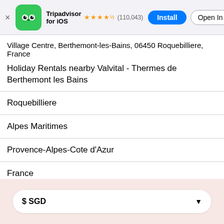[Figure (screenshot): Tripadvisor app banner with green owl logo icon, app name 'Tripadvisor for iOS', 4.5 star rating, (110,043) reviews, Install and Open In App buttons]
Village Centre, Berthemont-les-Bains, 06450 Roquebilliere, France
Holiday Rentals nearby Valvital - Thermes de Berthemont les Bains
Roquebilliere
Alpes Maritimes
Provence-Alpes-Cote d'Azur
France
Europe
Holiday Rentals
$ SGD